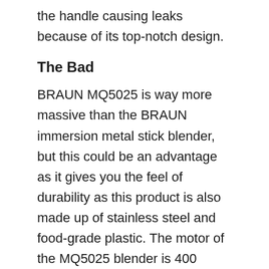the handle causing leaks because of its top-notch design.
The Bad
BRAUN MQ5025 is way more massive than the BRAUN immersion metal stick blender, but this could be an advantage as it gives you the feel of durability as this product is also made up of stainless steel and food-grade plastic. The motor of the MQ5025 blender is 400 watts, while the immersion blender is 500 watts. It could be helpful in case you need a “not-so” powerful motor that runs the blade.